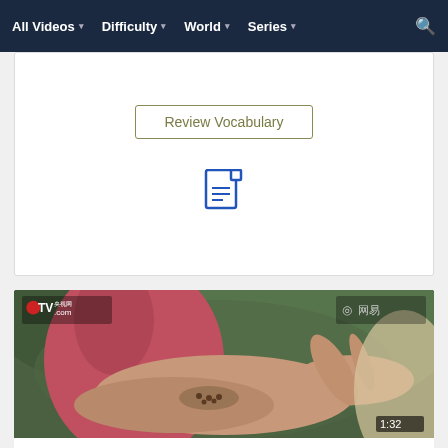All Videos   Difficulty   World   Series   [search]
Review Vocabulary
[Figure (illustration): Document/file icon in blue outline style]
[Figure (photo): Video thumbnail showing hands holding seeds outdoors, with CCTV and NetEase logos, duration 1:32]
Beginner  China
Environment & Sustainability > Shared Harvest > Part 1